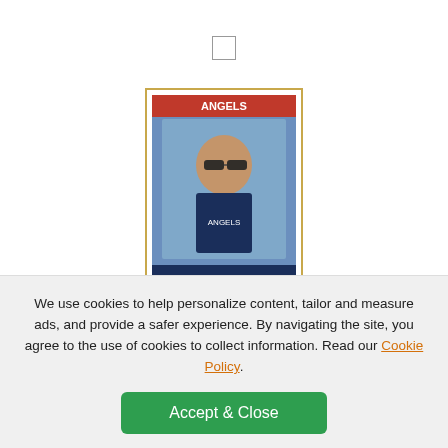[Figure (photo): Baseball trading card showing Cookie Rojas MG wearing sunglasses in California Angels uniform, card labeled ANGELS at top]
4 #97T Cookie Rojas MG
Team: California Angels
-
NM-MT
15
$0.50
ADD TO CART
We use cookies to help personalize content, tailor and measure ads, and provide a safer experience. By navigating the site, you agree to the use of cookies to collect information. Read our Cookie Policy.
Accept & Close